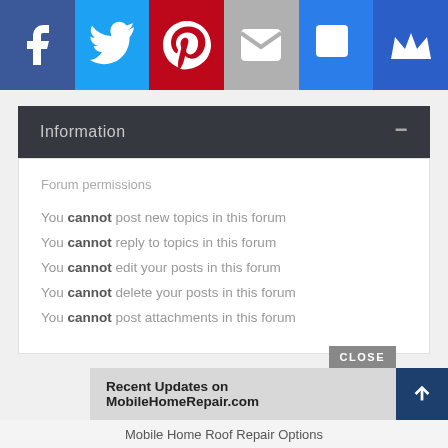[Figure (screenshot): Social share bar with Facebook, Twitter, Pinterest, Email, SMS, and Crown/Notify buttons]
Information
Forum permissions
You cannot post new topics in this forum
You cannot reply to topics in this forum
You cannot edit your posts in this forum
You cannot delete your posts in this forum
You cannot post attachments in this forum
Recent Updates on MobileHomeRepair.com
Mobile Home Roof Repair Options